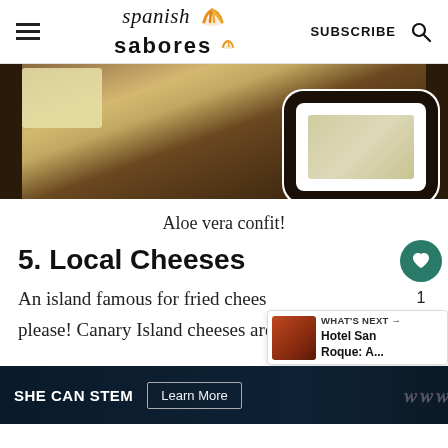Spanish Sabores | SUBSCRIBE
[Figure (photo): Photo of a white dish with aloe vera confit on a dark wooden surface]
Aloe vera confit!
5. Local Cheeses
An island famous for fried chees... please! Canary Island cheeses are d... goat's
WHAT'S NEXT → Hotel San Roque: A...
SHE CAN STEM  Learn More